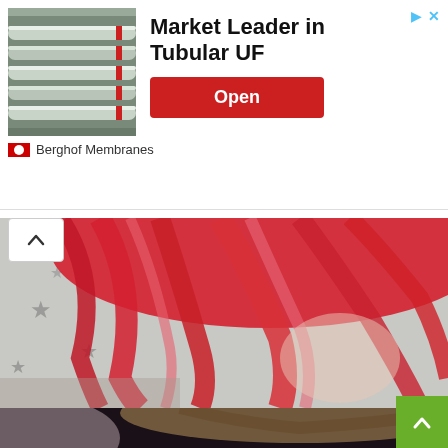[Figure (infographic): Advertisement banner for Berghof Membranes - Market Leader in Tubular UF, with industrial pipe/membrane image thumbnail, red Open button, and Berghof Membranes branding]
[Figure (photo): Close-up photo of a person with bright red/pink dyed hair, partially obscuring their face, wearing a grey top with star pattern]
[Figure (photo): Selfie photo of a young woman with brown hair, heavy eye makeup, smiling, wearing earrings, with a bright light flare on the left side]